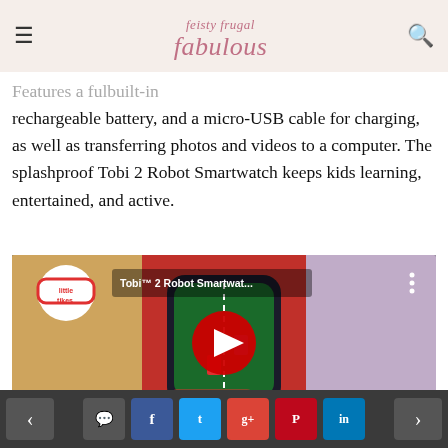feisty frugal fabulous
Features a ful... built-in rechargeable battery, and a micro-USB cable for charging, as well as transferring photos and videos to a computer. The splashproof Tobi 2 Robot Smartwatch keeps kids learning, entertained, and active.
[Figure (screenshot): YouTube video thumbnail for Tobi 2 Robot Smartwatch by Little Tikes, showing children wearing smartwatches and a racing game on the watch screen, with a red play button overlay and Little Tikes logo.]
Look for the Tobi 2 Robot Smartwatch this holiday
< [comment] [facebook] [twitter] [google+] [pinterest] [linkedin] >